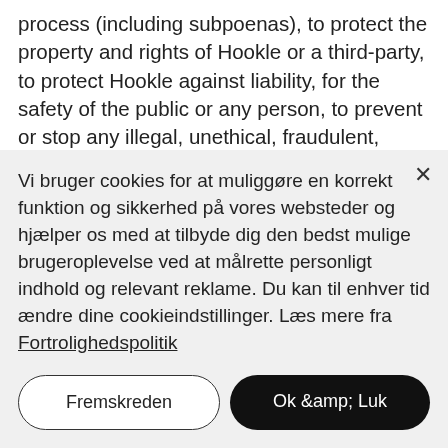process (including subpoenas), to protect the property and rights of Hookle or a third-party, to protect Hookle against liability, for the safety of the public or any person, to prevent or stop any illegal, unethical, fraudulent, abusive, or legally actionable activity, to protect the security or integrity of the Service and any equipment used to make the Service available, or to comply with the law.
Vi bruger cookies for at muliggøre en korrekt funktion og sikkerhed på vores websteder og hjælper os med at tilbyde dig den bedst mulige brugeroplevelse ved at målrette personligt indhold og relevant reklame. Du kan til enhver tid ændre dine cookieindstillinger. Læs mere fra Fortrolighedspolitik
Fremskreden
Ok &amp; Luk